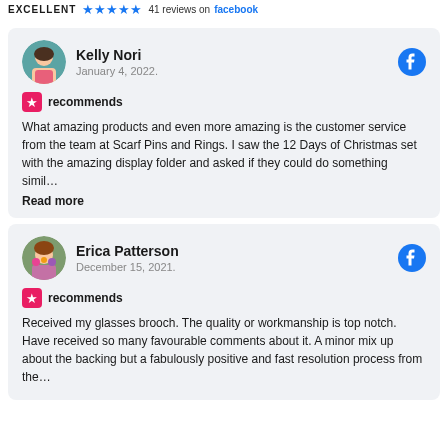EXCELLENT ★★★★★ 41 reviews on facebook
Kelly Nori
January 4, 2022.
recommends
What amazing products and even more amazing is the customer service from the team at Scarf Pins and Rings. I saw the 12 Days of Christmas set with the amazing display folder and asked if they could do something simil…
Read more
Erica Patterson
December 15, 2021.
recommends
Received my glasses brooch. The quality or workmanship is top notch. Have received so many favourable comments about it. A minor mix up about the backing but a fabulously positive and fast resolution process from the…